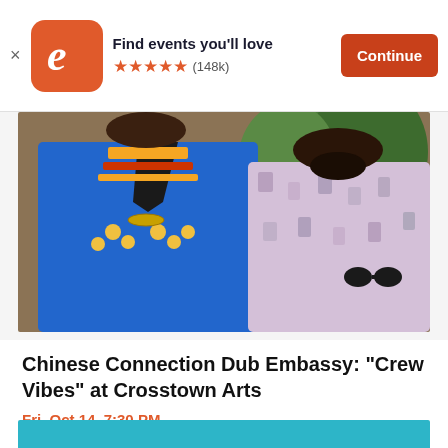Find events you'll love ★★★★★ (148k) Continue
[Figure (photo): Two men posing, one wearing a blue dashiki with colorful patterns and gold jewelry, the other wearing a light floral/patterned shirt with sunglasses hanging from collar, with tropical plant in background]
Chinese Connection Dub Embassy: "Crew Vibes" at Crosstown Arts
Fri, Oct 14, 7:30 PM
The Green Room at Crosstown Arts • Memphis...
$15 - $20